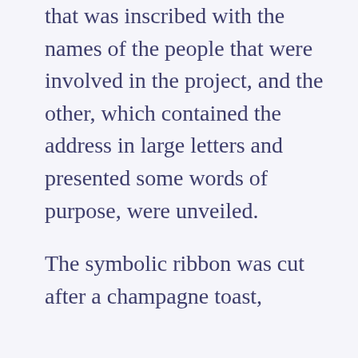that was inscribed with the names of the people that were involved in the project, and the other, which contained the address in large letters and presented some words of purpose, were unveiled.
The symbolic ribbon was cut after a champagne toast,